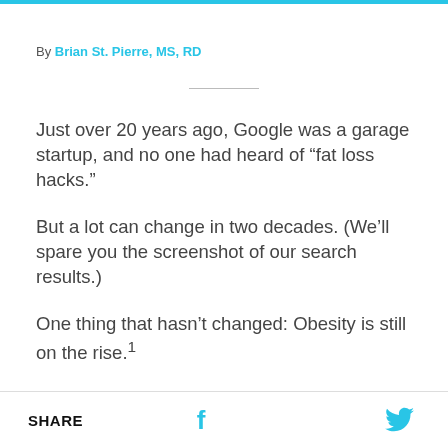By Brian St. Pierre, MS, RD
Just over 20 years ago, Google was a garage startup, and no one had heard of “fat loss hacks.”
But a lot can change in two decades. (We’ll spare you the screenshot of our search results.)
One thing that hasn’t changed: Obesity is still on the rise.¹
SHARE